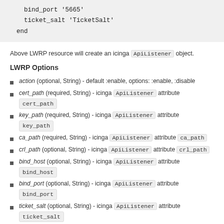bind_port '5665'
    ticket_salt 'TicketSalt'
  end
Above LWRP resource will create an icinga ApiListener object.
LWRP Options
action (optional, String) - default :enable, options: :enable, :disable
cert_path (required, String) - icinga ApiListener attribute cert_path
key_path (required, String) - icinga ApiListener attribute key_path
ca_path (required, String) - icinga ApiListener attribute ca_path
crl_path (optional, String) - icinga ApiListener attribute crl_path
bind_host (optional, String) - icinga ApiListener attribute bind_host
bind_port (optional, String) - icinga ApiListener attribute bind_port
ticket_salt (optional, String) - icinga ApiListener attribute ticket_salt
accept_config (optional, TrueClass/FalseClass) - icinga